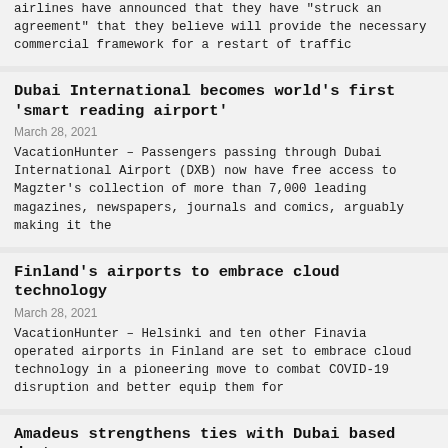airlines have announced that they have "struck an agreement" that they believe will provide the necessary commercial framework for a restart of traffic
Dubai International becomes world's first 'smart reading airport'
March 28, 2021
VacationHunter – Passengers passing through Dubai International Airport (DXB) now have free access to Magzter's collection of more than 7,000 leading magazines, newspapers, journals and comics, arguably making it the
Finland's airports to embrace cloud technology
March 28, 2021
VacationHunter – Helsinki and ten other Finavia operated airports in Finland are set to embrace cloud technology in a pioneering move to combat COVID-19 disruption and better equip them for
Amadeus strengthens ties with Dubai based dnata
March 28, 2021
VacationHunter – Amadeus has announced that it is to work even closer with ground handler and air service provider, dnata, in support of its drive for "greater standardisation" of the